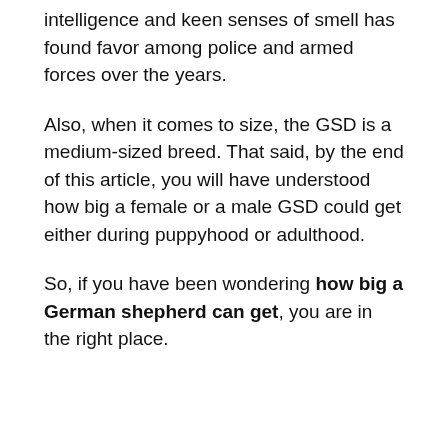intelligence and keen senses of smell has found favor among police and armed forces over the years.
Also, when it comes to size, the GSD is a medium-sized breed. That said, by the end of this article, you will have understood how big a female or a male GSD could get either during puppyhood or adulthood.
So, if you have been wondering how big a German shepherd can get, you are in the right place.